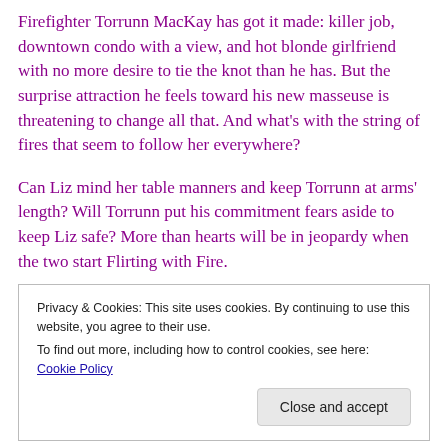Firefighter Torrunn MacKay has got it made: killer job, downtown condo with a view, and hot blonde girlfriend with no more desire to tie the knot than he has. But the surprise attraction he feels toward his new masseuse is threatening to change all that. And what’s with the string of fires that seem to follow her everywhere?
Can Liz mind her table manners and keep Torrunn at arms’ length? Will Torrunn put his commitment fears aside to keep Liz safe? More than hearts will be in jeopardy when the two start Flirting with Fire.
Privacy & Cookies: This site uses cookies. By continuing to use this website, you agree to their use.
To find out more, including how to control cookies, see here: Cookie Policy